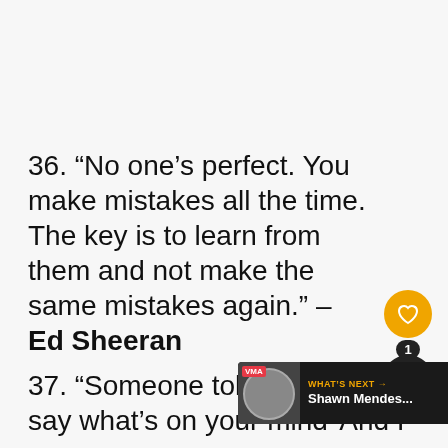36. “No one’s perfect. You make mistakes all the time. The key is to learn from them and not make the same mistakes again.” – Ed Sheeran
37. “Someone told me, ‘Always say what’s on your mind’ And I’m only being honest with you, I get